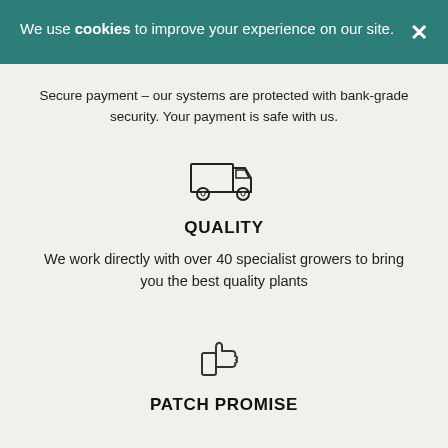We use cookies to improve your experience on our site.
Secure payment - our systems are protected with bank-grade security. Your payment is safe with us.
[Figure (illustration): Delivery truck outline icon]
QUALITY
We work directly with over 40 specialist growers to bring you the best quality plants
[Figure (illustration): Thumbs up outline icon]
PATCH PROMISE